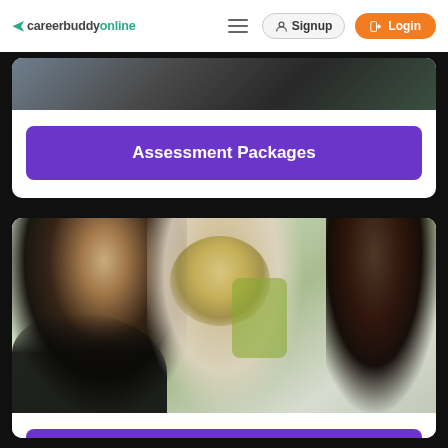careerbuddyonline — Signup — Login
[Figure (photo): Dark blurry photo at top of card, partial view of a person in a professional setting]
Assessment Packages
[Figure (photo): Three people in a meeting/counselling session: woman with glasses on left smiling, blonde woman in center, man with dark hair on right (back of head visible), office background with green chairs]
Counselling